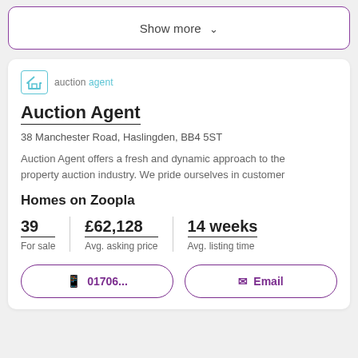Show more ∨
[Figure (logo): Auction Agent logo: house icon in teal border, text 'auction agent' in grey and teal]
Auction Agent
38 Manchester Road, Haslingden, BB4 5ST
Auction Agent offers a fresh and dynamic approach to the property auction industry. We pride ourselves in customer
Homes on Zoopla
| For sale | Avg. asking price | Avg. listing time |
| --- | --- | --- |
| 39 | £62,128 | 14 weeks |
📱 01706...
✉ Email